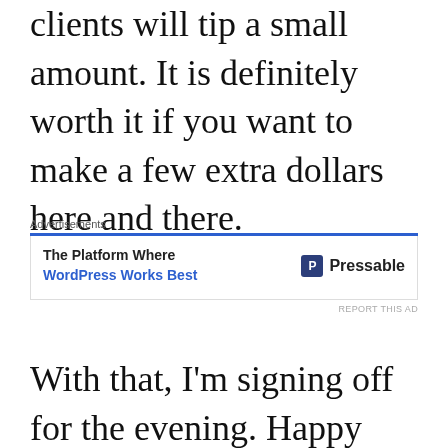clients will tip a small amount. It is definitely worth it if you want to make a few extra dollars here and there.
[Figure (other): Advertisement banner for Pressable WordPress hosting. Contains label 'Advertisements', a blue border line, ad text 'The Platform Where WordPress Works Best' and Pressable logo with 'REPORT THIS AD' link.]
With that, I’m signing off for the evening. Happy earning, entrepreneur!